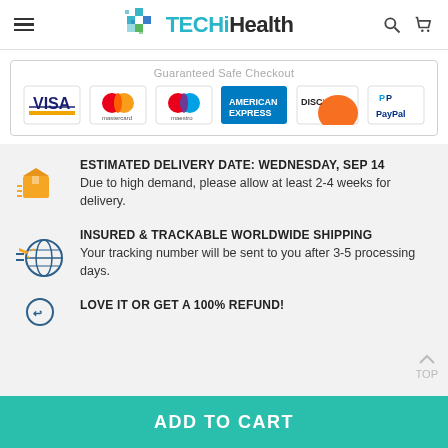TECHiHealth
[Figure (infographic): Guaranteed Safe Checkout section showing payment logos: VISA, Mastercard, Maestro, American Express, Discover, PayPal]
ESTIMATED DELIVERY DATE: WEDNESDAY, SEP 14 — Due to high demand, please allow at least 2-4 weeks for delivery.
INSURED & TRACKABLE WORLDWIDE SHIPPING — Your tracking number will be sent to you after 3-5 processing days.
LOVE IT OR GET A 100% REFUND!
ADD TO CART